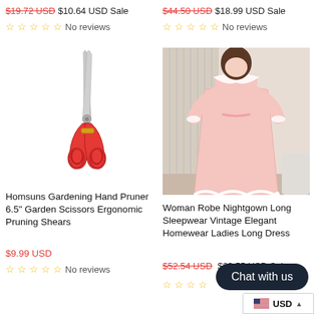$19.72 USD $10.64 USD Sale
$44.50 USD $18.99 USD Sale
No reviews
No reviews
[Figure (photo): Red-handled garden pruning scissors/shears pointing upward]
[Figure (photo): Woman wearing a pink vintage-style long nightgown with lace trim]
Homsuns Gardening Hand Pruner 6.5" Garden Scissors Ergonomic Pruning Shears
Woman Robe Nightgown Long Sleepwear Vintage Elegant Homewear Ladies Long Dress
$9.99 USD
$52.54 USD $29.55 USD Sale
No reviews
Chat with us
USD